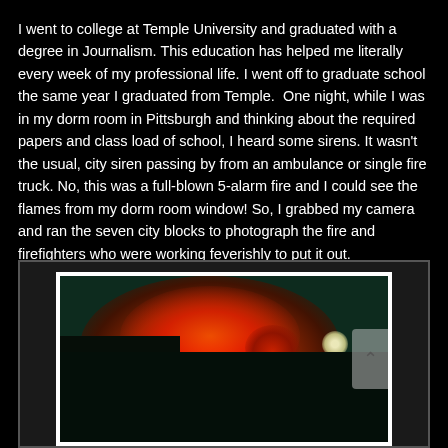I went to college at Temple University and graduated with a degree in Journalism. This education has helped me literally every week of my professional life. I went off to graduate school the same year I graduated from Temple.  One night, while I was in my dorm room in Pittsburgh and thinking about the required papers and class load of school, I heard some sirens. It wasn't the usual, city siren passing by from an ambulance or single fire truck. No, this was a full-blown 5-alarm fire and I could see the flames from my dorm room window! So, I grabbed my camera and ran the seven city blocks to photograph the fire and firefighters who were working feverishly to put it out.
[Figure (photo): Night photograph of a large fire with red and orange flames glowing against a dark sky, with dark silhouettes in the foreground and a street lamp visible on the right side.]